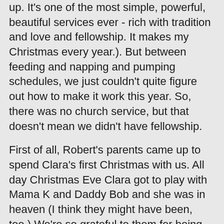up.  It's one of the most simple, powerful, beautiful services ever - rich with tradition and love and fellowship.  It makes my Christmas every year.).  But between feeding and napping and pumping schedules, we just couldn't quite figure out how to make it work this year.  So, there was no church service, but that doesn't mean we didn't have fellowship.
First of all, Robert's parents came up to spend Clara's first Christmas with us.  All day Christmas Eve Clara got to play with Mama K and Daddy Bob and she was in heaven (I think they might have been, too.)  We're so grateful to them for being willing to come up and spend some time with us here.
Our other Christmas Eve tradition for as long as I can remember is to have dinner with our friends the Jacksons.  Since we've all become "grown-ups" and are coordinating more complex Christmas schedules, the meal the past few years has been moved to another night in December when we could all be home.  But this year it worked out for us to gather again on Christmas Eve and Aunt Trina hosted us for a wonderful meal.  It was great to have Clara experience her first Davis-Jackson Christmas, and made even sweeter by the fact that it also was even more special this